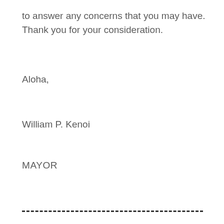to answer any concerns that you may have. Thank you for your consideration.
Aloha,
William P. Kenoi
MAYOR